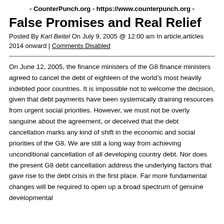- CounterPunch.org - https://www.counterpunch.org -
False Promises and Real Relief
Posted By Karl Beitel On July 9, 2005 @ 12:00 am In article,articles 2014 onward | Comments Disabled
On June 12, 2005, the finance ministers of the G8 finance ministers agreed to cancel the debt of eighteen of the world’s most heavily indebted poor countries. It is impossible not to welcome the decision, given that debt payments have been systemically draining resources from urgent social priorities. However, we must not be overly sanguine about the agreement, or deceived that the debt cancellation marks any kind of shift in the economic and social priorities of the G8. We are still a long way from achieving unconditional cancellation of all developing country debt. Nor does the present G8 debt cancellation address the underlying factors that gave rise to the debt crisis in the first place. Far more fundamental changes will be required to open up a broad spectrum of genuine developmental